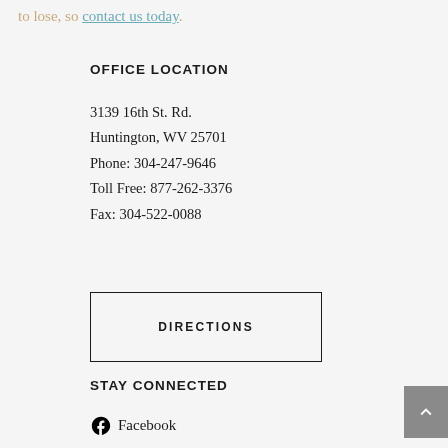to lose, so contact us today.
OFFICE LOCATION
3139 16th St. Rd.
Huntington, WV 25701
Phone: 304-247-9646
Toll Free: 877-262-3376
Fax: 304-522-0088
DIRECTIONS
STAY CONNECTED
Facebook
Twitter
Linked in